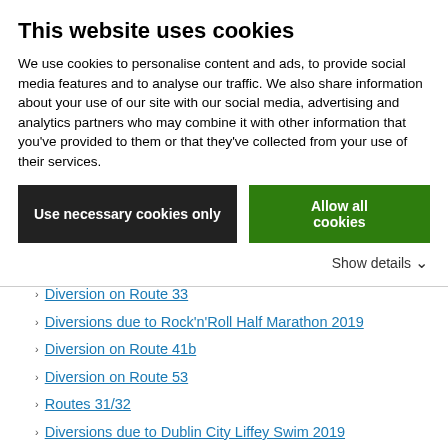This website uses cookies
We use cookies to personalise content and ads, to provide social media features and to analyse our traffic. We also share information about your use of our site with our social media, advertising and analytics partners who may combine it with other information that you've provided to them or that they've collected from your use of their services.
Female Driver Recruitment Open Days
Temporary Stop Closures on Chapelizod Road
Diversion on Route 33
Diversions due to Rock'n'Roll Half Marathon 2019
Diversion on Route 41b
Diversion on Route 53
Routes 31/32
Diversions due to Dublin City Liffey Swim 2019
Diversions due to Malahide Has It Festival 2019
Diversions on Routes